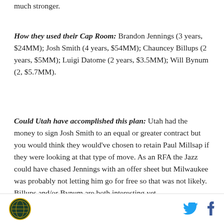much stronger.
How they used their Cap Room: Brandon Jennings (3 years, $24MM); Josh Smith (4 years, $54MM); Chauncey Billups (2 years, $5MM); Luigi Datome (2 years, $3.5MM); Will Bynum (2, $5.7MM).
Could Utah have accomplished this plan: Utah had the money to sign Josh Smith to an equal or greater contract but you would think they would've chosen to retain Paul Millsap if they were looking at that type of move. As an RFA the Jazz could have chased Jennings with an offer sheet but Milwaukee was probably not letting him go for free so that was not likely. Billups and/or Bynum are both interesting yet